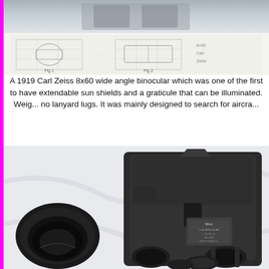[Figure (photo): Top portion of a photograph showing a grey binocular or optical instrument against a white background, cropped at top.]
[Figure (schematic): Technical diagram strip showing schematic drawings of binocular components with grid lines and labels.]
A 1919 Carl Zeiss 8x60 wide angle binocular which was one of the first to have extendable sun shields and a graticule that can be illuminated. Weig... no lanyard lugs. It was mainly designed to search for aircra...
[Figure (photo): Close-up photograph of a large military binocular (appears to be a Japanese Nikon naval binocular) with detached eyepiece cup visible on the left, placed on a white fabric background. The binocular shows a Nikon data plate.]